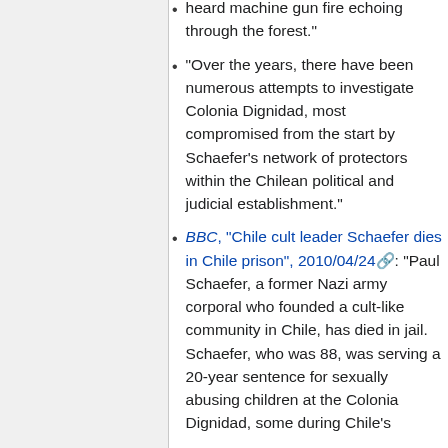heard machine gun fire echoing through the forest."
"Over the years, there have been numerous attempts to investigate Colonia Dignidad, most compromised from the start by Schaefer's network of protectors within the Chilean political and judicial establishment."
BBC, "Chile cult leader Schaefer dies in Chile prison", 2010/04/24: "Paul Schaefer, a former Nazi army corporal who founded a cult-like community in Chile, has died in jail. Schaefer, who was 88, was serving a 20-year sentence for sexually abusing children at the Colonia Dignidad, some during Chile's